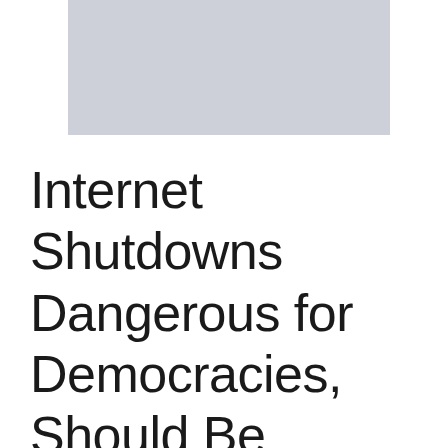[Figure (photo): Gray rectangular image placeholder at the top of the page]
Internet Shutdowns Dangerous for Democracies, Should Be Stopped: UN-Hdmoviefreedown